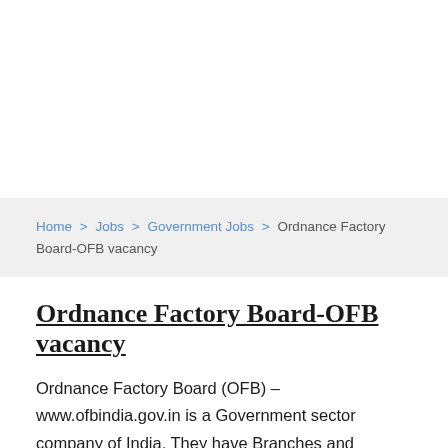Home > Jobs > Government Jobs > Ordnance Factory Board-OFB vacancy
Ordnance Factory Board-OFB vacancy
Ordnance Factory Board (OFB) – www.ofbindia.gov.in is a Government sector company of India. They have Branches and regional head offices spreads all over the country. OFB will